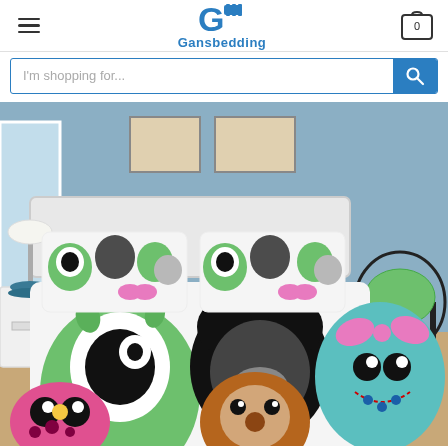Gansbedding — navigation header with hamburger menu, logo, and cart icon
I'm shopping for...
[Figure (photo): Product photo of a Disney Tsum Tsum character-themed bedding set displayed on a bed in a blue bedroom. Colorful cartoon characters including Mike Wazowski (green one-eyed monster), Mickey Mouse, Chip, and others are featured on the duvet and pillow covers. A bedside table with a lamp and a black rattan chair with a matching pillow are visible.]